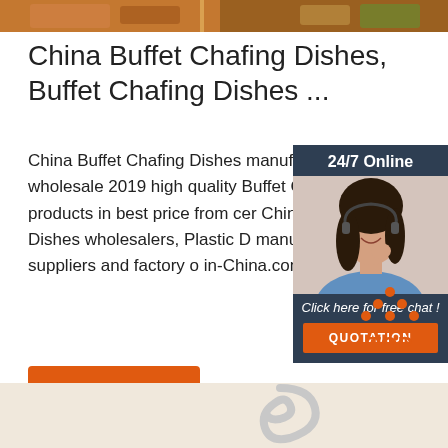[Figure (photo): Top strip showing food items including what appears to be a roasted dish with vegetables]
China Buffet Chafing Dishes, Buffet Chafing Dishes ...
China Buffet Chafing Dishes manufacturers - wholesale 2019 high quality Buffet Chafing Dishes products in best price from certified Chinese Dishes wholesalers, Plastic Dishes manufacturers, suppliers and factory on in-China.com
[Figure (infographic): 24/7 Online chat widget with agent photo, 'Click here for free chat!' text, and QUOTATION button in orange]
[Figure (other): Get Price orange button]
[Figure (other): TOP navigation icon with orange dots and text]
[Figure (photo): Bottom strip with beige/cream background showing partial image of a metallic clip or chafing dish handle]